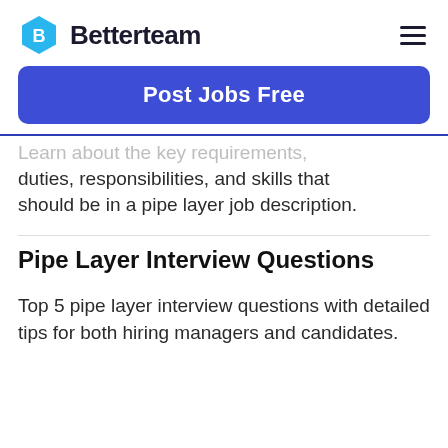Betterteam
[Figure (other): Blue Post Jobs Free button]
Learn about the key requirements, duties, responsibilities, and skills that should be in a pipe layer job description.
Pipe Layer Interview Questions
Top 5 pipe layer interview questions with detailed tips for both hiring managers and candidates.